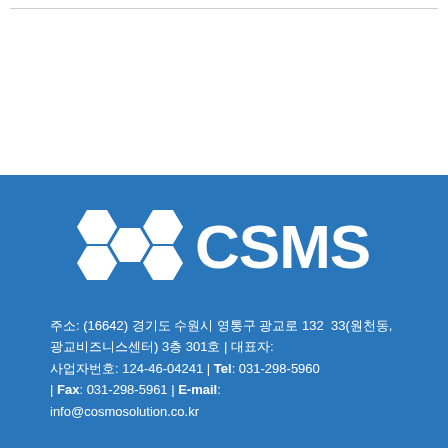[Figure (logo): CSMS company logo with hexagonal honeycomb pattern on the left and bold white text 'CSMS' on blue background]
주소: (16642) 경기도 수원시 영통구 광교로 132  33(원천동, 광교비즈니스센터) 3층 301호 | 대표자: 이영민 사업자번호: 124-46-04241 | Tel: 031-298-5960 | Fax: 031-298-5961 | E-mail: info@cosmosolution.co.kr